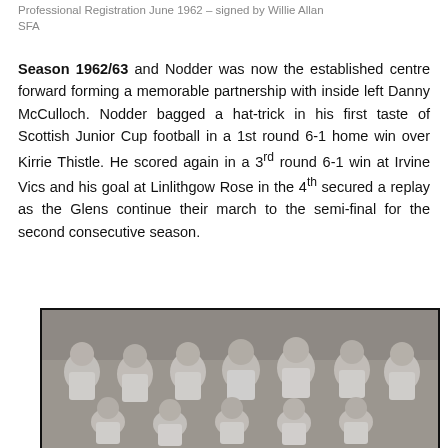Professional Registration June 1962 – signed by Willie Allan
SFA
Season 1962/63 and Nodder was now the established centre forward forming a memorable partnership with inside left Danny McCulloch. Nodder bagged a hat-trick in his first taste of Scottish Junior Cup football in a 1st round 6-1 home win over Kirrie Thistle. He scored again in a 3rd round 6-1 win at Irvine Vics and his goal at Linlithgow Rose in the 4th secured a replay as the Glens continue their march to the semi-final for the second consecutive season.
[Figure (photo): Black and white team photograph showing a group of football players in white shirts, posed in two rows.]